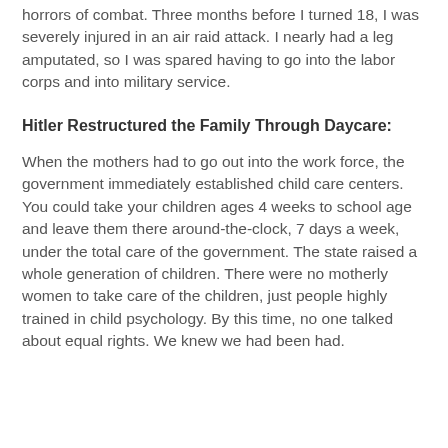horrors of combat. Three months before I turned 18, I was severely injured in an air raid attack. I nearly had a leg amputated, so I was spared having to go into the labor corps and into military service.
Hitler Restructured the Family Through Daycare:
When the mothers had to go out into the work force, the government immediately established child care centers. You could take your children ages 4 weeks to school age and leave them there around-the-clock, 7 days a week, under the total care of the government. The state raised a whole generation of children. There were no motherly women to take care of the children, just people highly trained in child psychology. By this time, no one talked about equal rights. We knew we had been had.